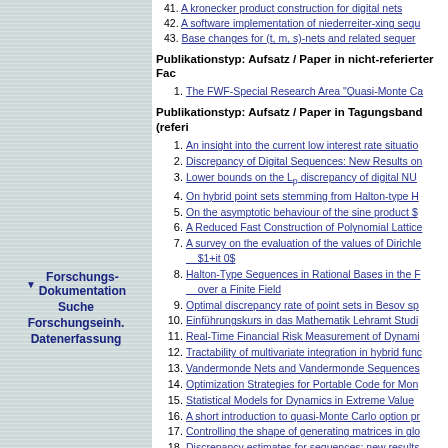41. A kronecker product construction for digital nets
42. A software implementation of niederreiter-xing sequences
43. Base changes for (t, m, s)-nets and related sequences
Publikationstyp: Aufsatz / Paper in nicht-referierter Fachzeitschrift
1. The FWF-Special Research Area "Quasi-Monte Carlo Methods"
Publikationstyp: Aufsatz / Paper in Tagungsband (referiert)
1. An insight into the current low interest rate situation
2. Discrepancy of Digital Sequences: New Results on
3. Lower bounds on the L_p discrepancy of digital NU
4. On hybrid point sets stemming from Halton-type H
5. On the asymptotic behaviour of the sine product $
6. A Reduced Fast Construction of Polynomial Lattice
7. A survey on the evaluation of the values of Dirichlet... $1+it_0$
8. Halton-Type Sequences in Rational Bases in the R... over a Finite Field
9. Optimal discrepancy rate of point sets in Besov sp
10. Einführungskurs in das Mathematik Lehramt Studi
11. Real-Time Financial Risk Measurement of Dynamic
12. Tractability of multivariate integration in hybrid func
13. Vandermonde Nets and Vandermonde Sequences
14. Optimization Strategies for Portable Code for Mon
15. Statistical Models for Dynamics in Extreme Value
16. A short introduction to quasi-Monte Carlo option pr
17. Controlling the shape of generating matrices in glo
18. Discrepancy estimates for sequences: new results
19. Explicit constructions of point sets and sequences
20. First Steps in Hybrid-Monte Carlo Methods for Cre
21. The inverse of the star-discrepancy problem and t
22. Tractability of multivariate analytic problems
Publikationstyp: Aufsatz / Paper in...
Forschungs-Dokumentation
Suche
Forschungseinh.
Datenerfassung